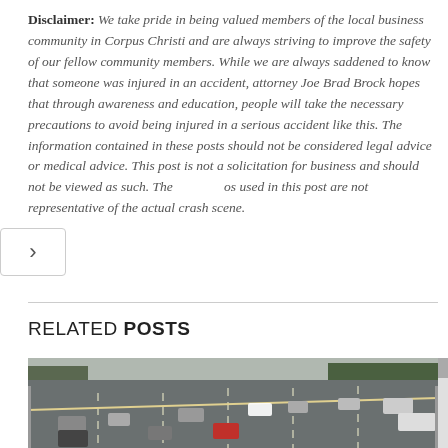Disclaimer: We take pride in being valued members of the local business community in Corpus Christi and are always striving to improve the safety of our fellow community members. While we are always saddened to know that someone was injured in an accident, attorney Joe Brad Brock hopes that through awareness and education, people will take the necessary precautions to avoid being injured in a serious accident like this. The information contained in these posts should not be considered legal advice or medical advice. This post is not a solicitation for business and should not be viewed as such. The photos used in this post are not representative of the actual crash scene.
RELATED POSTS
[Figure (photo): Highway with multiple lanes of traffic, cars visible in both directions, overcast sky, green trees on right side]